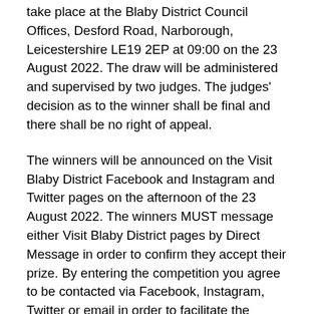take place at the Blaby District Council Offices, Desford Road, Narborough, Leicestershire LE19 2EP at 09:00 on the 23 August 2022. The draw will be administered and supervised by two judges. The judges' decision as to the winner shall be final and there shall be no right of appeal.
The winners will be announced on the Visit Blaby District Facebook and Instagram and Twitter pages on the afternoon of the 23 August 2022. The winners MUST message either Visit Blaby District pages by Direct Message in order to confirm they accept their prize. By entering the competition you agree to be contacted via Facebook, Instagram, Twitter or email in order to facilitate the collection/delivery of the prize.
The Winner must claim their prize by the 30 August 2022.